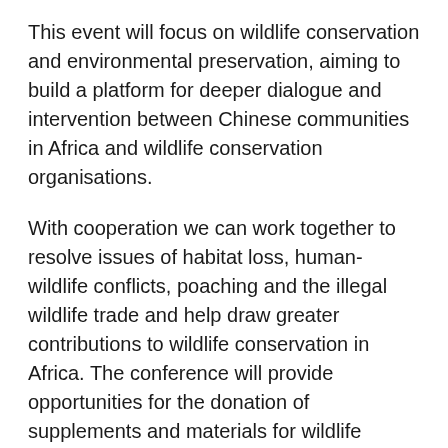This event will focus on wildlife conservation and environmental preservation, aiming to build a platform for deeper dialogue and intervention between Chinese communities in Africa and wildlife conservation organisations.
With cooperation we can work together to resolve issues of habitat loss, human-wildlife conflicts, poaching and the illegal wildlife trade and help draw greater contributions to wildlife conservation in Africa. The conference will provide opportunities for the donation of supplements and materials for wildlife parks/conservancies across South Africa, and will address an urgent need for those in the conservation field who want to express their concerns or good intentions to reach out to Chinese communities.
The conference will address the following issues: